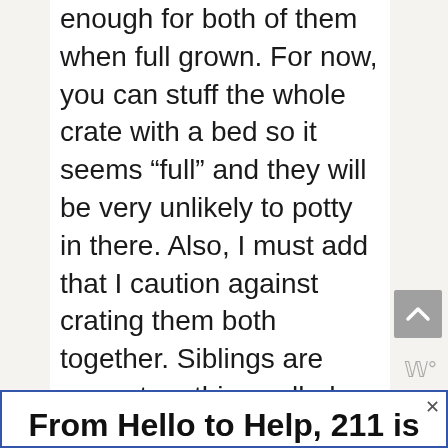enough for both of them when full grown. For now, you can stuff the whole crate with a bed so it seems “full” and they will be very unlikely to potty in there. Also, I must add that I caution against crating them both together. Siblings are prone to a thing called “littermate syndrome” which can make them more bonded to each other than you (so training
[Figure (other): Gray scroll-to-top button with upward chevron arrow]
From Hello to Help, 211 is Here
Food • Housing • Utilities Assistance • Mental Health